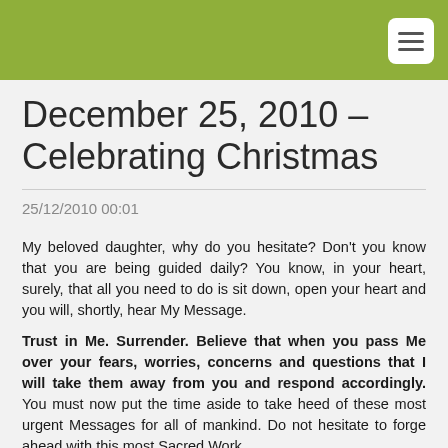December 25, 2010 – Celebrating Christmas
25/12/2010 00:01
My beloved daughter, why do you hesitate? Don't you know that you are being guided daily? You know, in your heart, surely, that all you need to do is sit down, open your heart and you will, shortly, hear My Message.

Trust in Me. Surrender. Believe that when you pass Me over your fears, worries, concerns and questions that I will take them away from you and respond accordingly. You must now put the time aside to take heed of these most urgent Messages for all of mankind. Do not hesitate to forge ahead with this most Sacred Work.